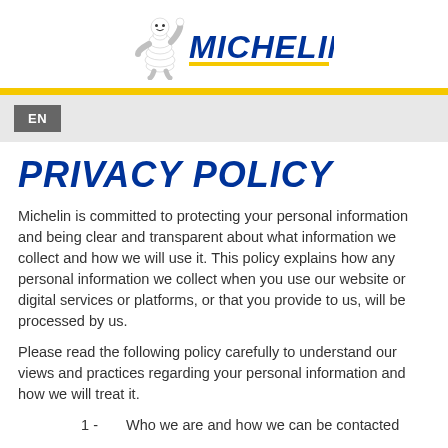[Figure (logo): Michelin logo with Bibendum mascot and MICHELIN wordmark in blue with yellow underline]
EN
PRIVACY POLICY
Michelin is committed to protecting your personal information and being clear and transparent about what information we collect and how we will use it. This policy explains how any personal information we collect when you use our website or digital services or platforms, or that you provide to us, will be processed by us.
Please read the following policy carefully to understand our views and practices regarding your personal information and how we will treat it.
1 -    Who we are and how we can be contacted